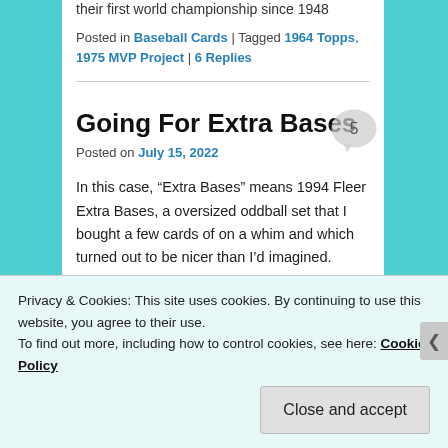their first world championship since 1948
Posted in Baseball Cards | Tagged 1964 Topps, 1975 MVP Project | 6 Replies
Going For Extra Bases
Posted on July 15, 2022
In this case, “Extra Bases” means 1994 Fleer Extra Bases, a oversized oddball set that I bought a few cards of on a whim and which turned out to be nicer than I’d imagined.
Privacy & Cookies: This site uses cookies. By continuing to use this website, you agree to their use.
To find out more, including how to control cookies, see here: Cookie Policy